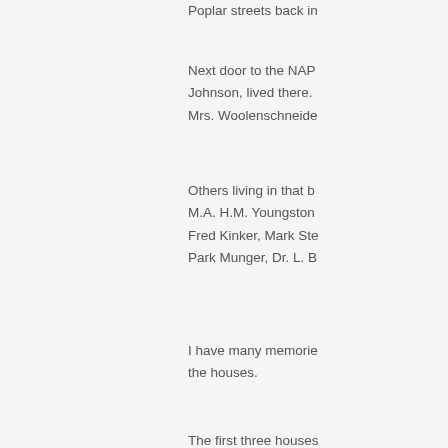Poplar streets back in
Next door to the NAP Johnson, lived there. Mrs. Woolenschneide
Others living in that b M.A. H.M. Youngston Fred Kinker, Mark Ste Park Munger, Dr. L. B
I have many memorie the houses.
The first three houses him by his grand- par a business on Main S
Andrew Mergenthale appearing man, who a sister Rella Becker w